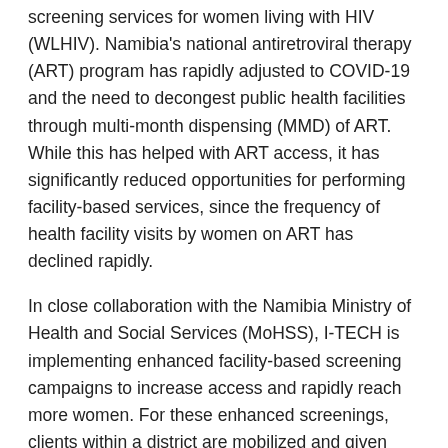screening services for women living with HIV (WLHIV). Namibia's national antiretroviral therapy (ART) program has rapidly adjusted to COVID-19 and the need to decongest public health facilities through multi-month dispensing (MMD) of ART. While this has helped with ART access, it has significantly reduced opportunities for performing facility-based services, since the frequency of health facility visits by women on ART has declined rapidly.
In close collaboration with the Namibia Ministry of Health and Social Services (MoHSS), I-TECH is implementing enhanced facility-based screening campaigns to increase access and rapidly reach more women. For these enhanced screenings, clients within a district are mobilized and given paced appointment times at several facilities in-line with COVID-19 restrictions. Service providers are then assigned to these specific locations to reach those women.